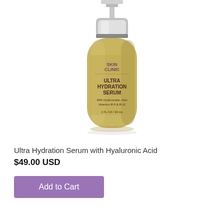[Figure (photo): Product photo of a small glass bottle of Ultra Hydration Serum with a silver pump cap, labeled 'Skin Clinic Ultra Hydration Serum with Hyaluronate, Aloe, Vitamins B-5 & B-12, 1 FL OZ / 30 mL']
Ultra Hydration Serum with Hyaluronic Acid
$49.00 USD
Add to Cart